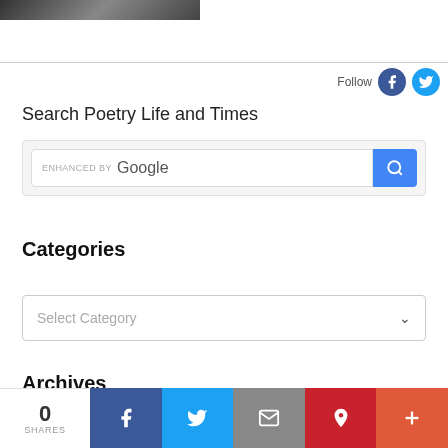[Figure (photo): Partial top image, appears to be a dark/grayscale photo cropped at the top of the page]
Follow
Search Poetry Life and Times
[Figure (screenshot): Google enhanced search box with search button]
Categories
Select Category
Archives
0 SHARES
Share bar with Facebook, Twitter, Email, Pinterest, and More buttons